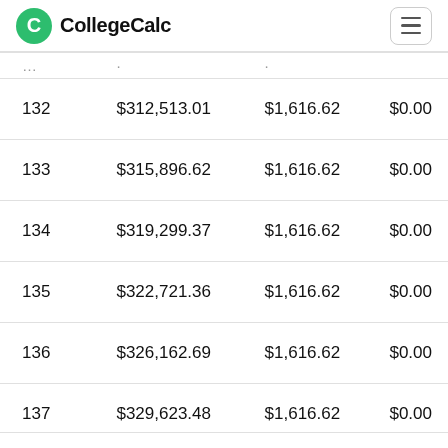CollegeCalc
|  |  |  |  |
| --- | --- | --- | --- |
| 132 | $312,513.01 | $1,616.62 | $0.00 |
| 133 | $315,896.62 | $1,616.62 | $0.00 |
| 134 | $319,299.37 | $1,616.62 | $0.00 |
| 135 | $322,721.36 | $1,616.62 | $0.00 |
| 136 | $326,162.69 | $1,616.62 | $0.00 |
| 137 | $329,623.48 | $1,616.62 | $0.00 |